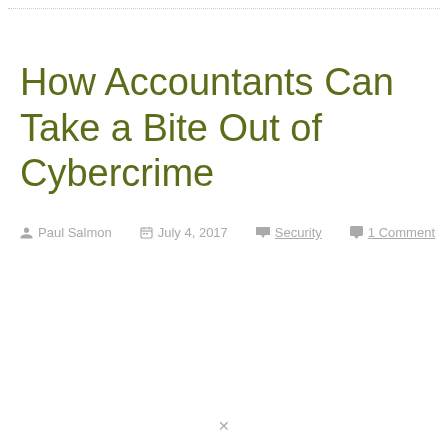How Accountants Can Take a Bite Out of Cybercrime
Paul Salmon · July 4, 2017 · Security · 1 Comment